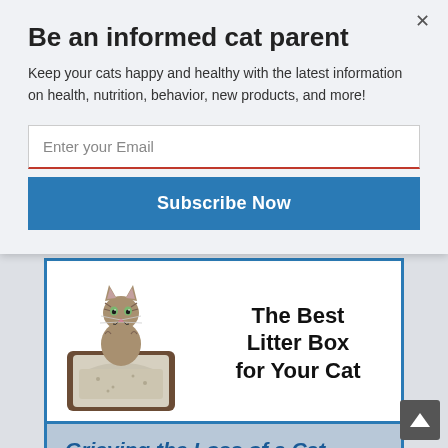Be an informed cat parent
Keep your cats happy and healthy with the latest information on health, nutrition, behavior, new products, and more!
Enter your Email
Subscribe Now
[Figure (illustration): Advertisement card showing a cat sitting in a litter box tray with text 'The Best Litter Box for Your Cat']
[Figure (illustration): Advertisement card with blue border showing text 'Grieving the Loss of a Cat' with blurred background photo of a cat]